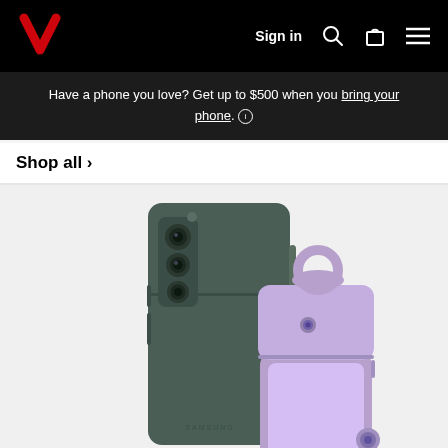Verizon navigation bar with Sign in, Search, Bag, and Menu icons
Have a phone you love? Get up to $500 when you bring your phone. ℹ
Shop all >
[Figure (photo): Two Samsung foldable phones - a dark green/gray Galaxy Z Fold with S Pen and a lavender/purple Galaxy Z Flip with ring holder case, photographed on a light gray background]